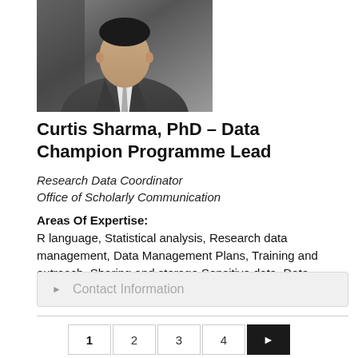[Figure (photo): Headshot photo of Curtis Sharma, a man in a dark suit and tie]
Curtis Sharma, PhD – Data Champion Programme Lead
Research Data Coordinator
Office of Scholarly Communication
Areas Of Expertise:
R language, Statistical analysis, Research data management, Data Management Plans, Training and outreach, Sharing and storage Sensitive data, Data engineering
Contact Information
1 2 3 4 >